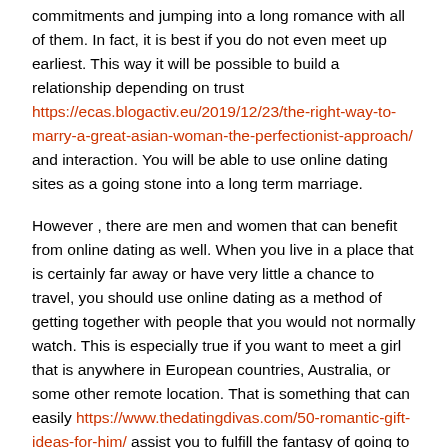commitments and jumping into a long romance with all of them. In fact, it is best if you do not even meet up earliest. This way it will be possible to build a relationship depending on trust https://ecas.blogactiv.eu/2019/12/23/the-right-way-to-marry-a-great-asian-woman-the-perfectionist-approach/ and interaction. You will be able to use online dating sites as a going stone into a long term marriage.
However , there are men and women that can benefit from online dating as well. When you live in a place that is certainly far away or have very little a chance to travel, you should use online dating as a method of getting together with people that you would not normally watch. This is especially true if you want to meet a girl that is anywhere in European countries, Australia, or some other remote location. That is something that can easily https://www.thedatingdivas.com/50-romantic-gift-ideas-for-him/ assist you to fulfill the fantasy of going to several places. Online dating services also makes it simple to make a lots of friends mainly because you will be meeting new people on a regular...